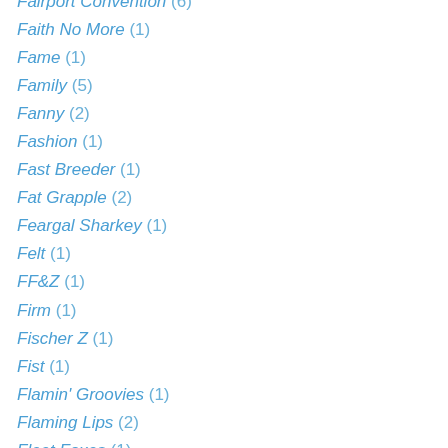Fairport Convention (6)
Faith No More (1)
Fame (1)
Family (5)
Fanny (2)
Fashion (1)
Fast Breeder (1)
Fat Grapple (2)
Feargal Sharkey (1)
Felt (1)
FF&Z (1)
Firm (1)
Fischer Z (1)
Fist (1)
Flamin' Groovies (1)
Flaming Lips (2)
Fleet Foxes (1)
Fleetwood Mac (7)
Flying Hat Band (2)
Focus (9)